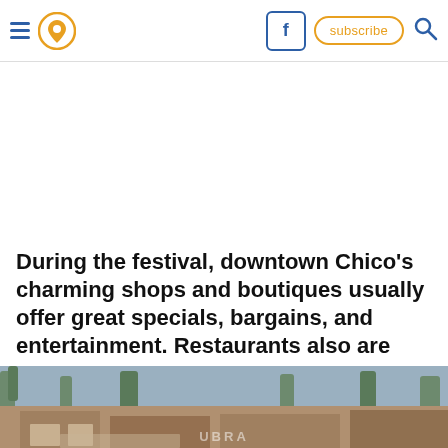Navigation header with hamburger menu, location pin icon, Facebook icon, subscribe button, and search icon
During the festival, downtown Chico's charming shops and boutiques usually offer great specials, bargains, and entertainment. Restaurants also are known for offering watermelon-themed items. The goal is to eat as much watermelon as you can ar
[Figure (screenshot): Ad overlay showing Hold and Move interactive advertisement with dark background and human figure icons]
[Figure (photo): Street-level photo of downtown Chico showing storefronts with trees in background]